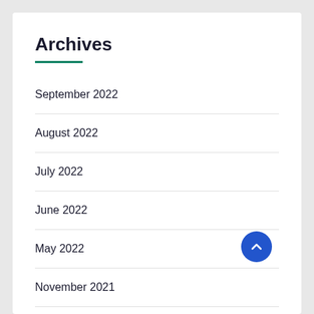Archives
September 2022
August 2022
July 2022
June 2022
May 2022
November 2021